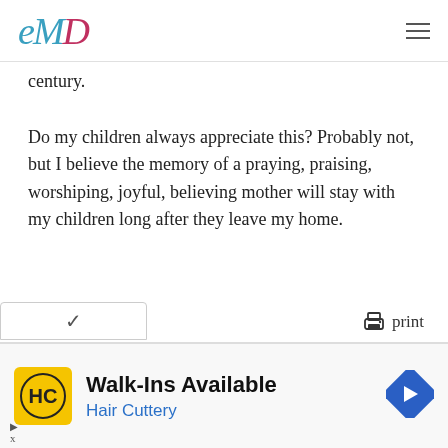eMD (logo) with hamburger menu
century.
Do my children always appreciate this? Probably not, but I believe the memory of a praying, praising, worshiping, joyful, believing mother will stay with my children long after they leave my home.
print
[Figure (screenshot): Advertisement banner: Walk-Ins Available - Hair Cuttery with HC logo and navigation arrow icon]